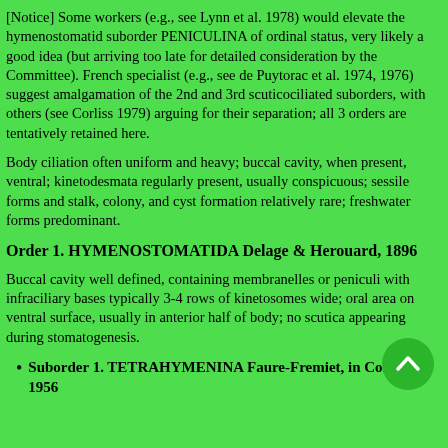[Notice] Some workers (e.g., see Lynn et al. 1978) would elevate the hymenostomatid suborder PENICULINA of ordinal status, very likely a good idea (but arriving too late for detailed consideration by the Committee). French specialist (e.g., see de Puytorac et al. 1974, 1976) suggest amalgamation of the 2nd and 3rd scuticociliated suborders, with others (see Corliss 1979) arguing for their separation; all 3 orders are tentatively retained here.
Body ciliation often uniform and heavy; buccal cavity, when present, ventral; kinetodesmata regularly present, usually conspicuous; sessile forms and stalk, colony, and cyst formation relatively rare; freshwater forms predominant.
Order 1. HYMENOSTOMATIDA Delage & Herouard, 1896
Buccal cavity well defined, containing membranelles or peniculi with infraciliary bases typically 3-4 rows of kinetosomes wide; oral area on ventral surface, usually in anterior half of body; no scutica appearing during stomatogenesis.
Suborder 1. TETRAHYMENINA Faure-Fremiet, in Corliss, 1956